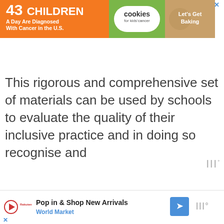[Figure (illustration): Advertisement banner: orange section with '43 CHILDREN A Day Are Diagnosed With Cancer in the U.S.', green section with 'cookies for kids cancer' badge, tan section with 'Let's Get Baking' text and close button]
[Figure (other): Small watermark/logo: three vertical bars with degree symbol, grey color]
This rigorous and comprehensive set of materials can be used by schools to evaluate the quality of their inclusive practice and in doing so recognise and
[Figure (illustration): Bottom advertisement: play button icon, Rakuten logo, 'Pop in & Shop New Arrivals World Market' text, blue diamond navigation icon, small watermark, close button]